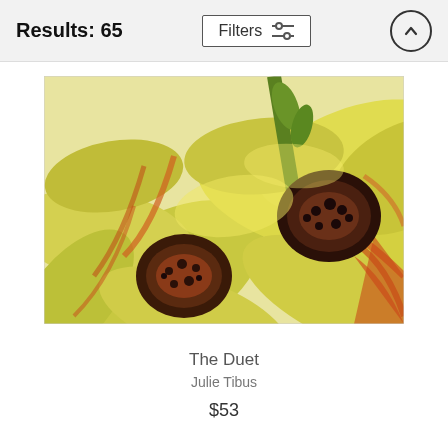Results: 65
[Figure (illustration): Painting of two yellow sunflowers with orange-red streaked petals and dark brown-black centers, close-up view on white background.]
The Duet
Julie Tibus
$53